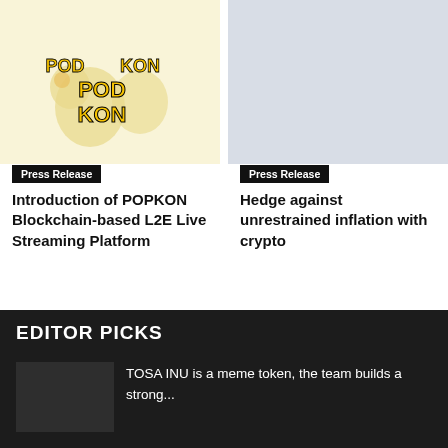[Figure (photo): POPKON logo on light yellow background — a cartoon character with 'POD KON' text]
Press Release
Introduction of POPKON Blockchain-based L2E Live Streaming Platform
[Figure (photo): Hedge against unrestrained inflation with cryptocurrencies — screenshot/graphic with cointo logo]
Press Release
Hedge against unrestrained inflation with crypto
EDITOR PICKS
TOSA INU is a meme token, the team builds a strong...